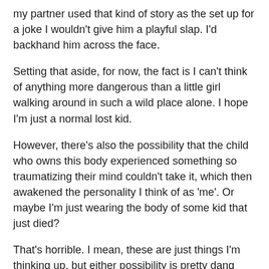my partner used that kind of story as the set up for a joke I wouldn't give him a playful slap. I'd backhand him across the face.
Setting that aside, for now, the fact is I can't think of anything more dangerous than a little girl walking around in such a wild place alone. I hope I'm just a normal lost kid.
However, there's also the possibility that the child who owns this body experienced something so traumatizing their mind couldn't take it, which then awakened the personality I think of as 'me'. Or maybe I'm just wearing the body of some kid that just died?
That's horrible. I mean, these are just things I'm thinking up, but either possibility is pretty dang serious.
Then again, there's something that looks like a name carved into the bracelets on my arms, and it seems to read 'Yuuri'.